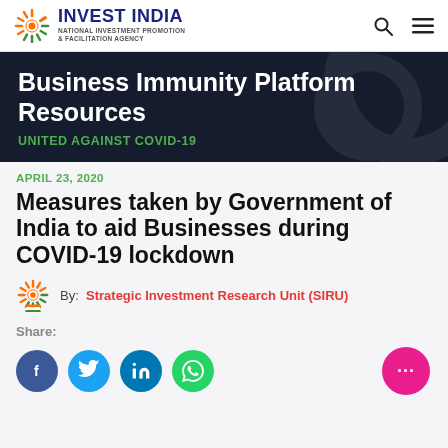[Figure (logo): Invest India logo - sun wheel icon with text INVEST INDIA NATIONAL INVESTMENT PROMOTION & FACILITATION AGENCY]
Business Immunity Platform Resources
UNITED AGAINST COVID-19
APRIL 23, 2020
Measures taken by Government of India to aid Businesses during COVID-19 lockdown
By: Strategic Investment Research Unit (SIRU)
Share: